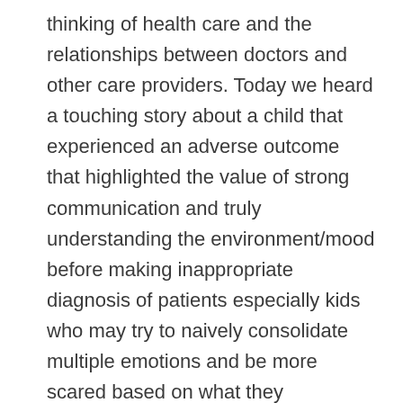thinking of health care and the relationships between doctors and other care providers. Today we heard a touching story about a child that experienced an adverse outcome that highlighted the value of strong communication and truly understanding the environment/mood before making inappropriate diagnosis of patients especially kids who may try to naively consolidate multiple emotions and be more scared based on what they read/watched on TV. As I leave this round table – I think about what I can take back to my home institution and implement. Some of my thoughts include creating a difficult patient encounter in Clinical Skills where an individual has to break news of an unfortunate outcome to the family of a patient or creating a day long course exploring/discussing in small group and didactically quality improvement. This